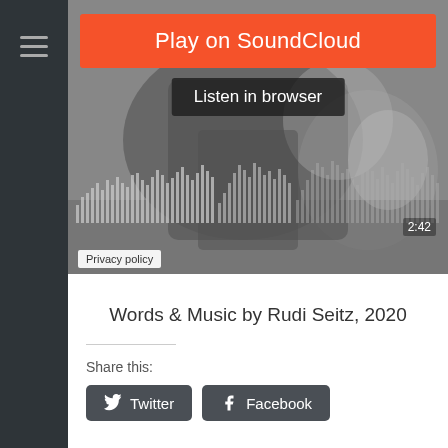[Figure (screenshot): SoundCloud embedded player with orange 'Play on SoundCloud' button, 'Listen in browser' button, waveform visualization over a grayscale photo of a person, time display '2:42', and 'Privacy policy' label.]
Words & Music by Rudi Seitz, 2020
Share this:
Twitter
Facebook